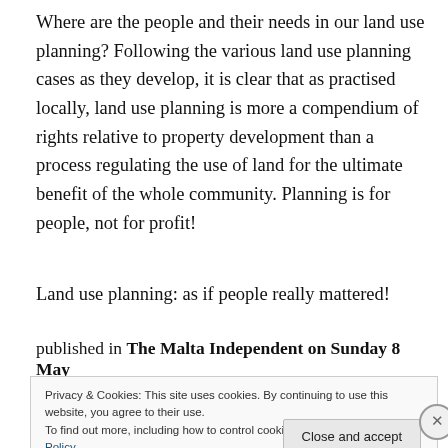Where are the people and their needs in our land use planning? Following the various land use planning cases as they develop, it is clear that as practised locally, land use planning is more a compendium of rights relative to property development than a process regulating the use of land for the ultimate benefit of the whole community. Planning is for people, not for profit!
Land use planning: as if people really mattered!
published in The Malta Independent on Sunday 8 May
Privacy & Cookies: This site uses cookies. By continuing to use this website, you agree to their use.
To find out more, including how to control cookies, see here: Cookie Policy